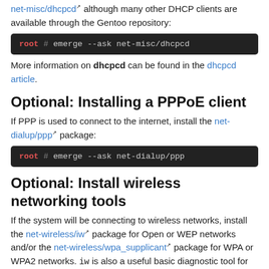net-misc/dhcpcd although many other DHCP clients are available through the Gentoo repository:
root # emerge --ask net-misc/dhcpcd
More information on dhcpcd can be found in the dhcpcd article.
Optional: Installing a PPPoE client
If PPP is used to connect to the internet, install the net-dialup/ppp package:
root # emerge --ask net-dialup/ppp
Optional: Install wireless networking tools
If the system will be connecting to wireless networks, install the net-wireless/iw package for Open or WEP networks and/or the net-wireless/wpa_supplicant package for WPA or WPA2 networks. iw is also a useful basic diagnostic tool for scanning wireless networks.